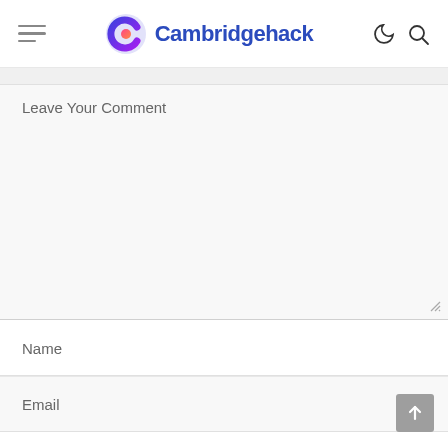Cambridgehack
Leave Your Comment
Name
Email
Website